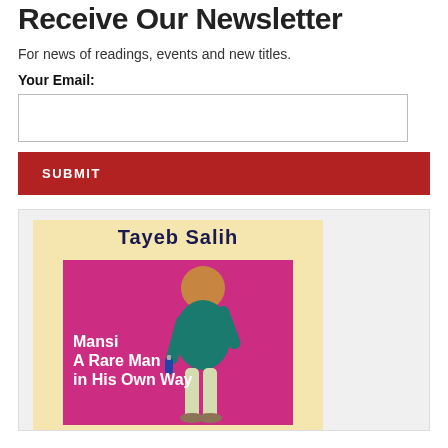Receive Our Newsletter
For news of readings, events and new titles.
Your Email:
[Figure (illustration): Book cover for 'Mansi A Rare Man in His Own Way' by Tayeb Salih. Yellow background with a magenta/pink inner panel showing a balding man in a teal shirt carrying items. White bold text reads 'Mansi A Rare Man in His Own Way'.]